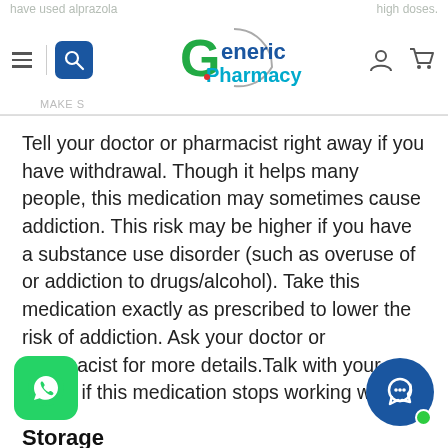have used alprazola ... high doses.
[Figure (logo): Generic Pharmacy logo with green G letter and blue Pharmacy text]
Tell your doctor or pharmacist right away if you have withdrawal. Though it helps many people, this medication may sometimes cause addiction. This risk may be higher if you have a substance use disorder (such as overuse of or addiction to drugs/alcohol). Take this medication exactly as prescribed to lower the risk of addiction. Ask your doctor or pharmacist for more details.Talk with your doctor if this medication stops working well.
Storage
Store at room temperature away from light and moisture. Do not store in the bathroom. Keep all medications away from children and pets. Do not flush medications down the toilet or throw them into a drain unless instructed to do so. Properly discard this product when it is expired or no longer needed.